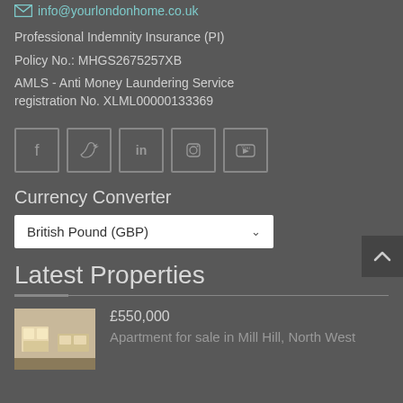info@yourlondonhome.co.uk
Professional Indemnity Insurance (PI)
Policy No.: MHGS2675257XB
AMLS - Anti Money Laundering Service registration No. XLML00000133369
[Figure (infographic): Social media icons: Facebook, Twitter, LinkedIn, Instagram, YouTube]
Currency Converter
British Pound (GBP)
Latest Properties
£550,000
Apartment for sale in Mill Hill, North West